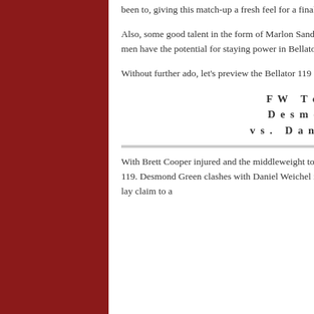been to, giving this match-up a fresh feel for a finals bout.
Also, some good talent in the form of Marlon Sandro, Chris Horodecki and Raphael Butler will grace the main card. All of these men have the potential for staying power in Bellator, as well as a shot to gain a future tournament slot.
Without further ado, let's preview the Bellator 119 card and make some predictions.
FW Tournament Final: Desmond Green (11-2) vs. Daniel Weichel (33-8)
With Brett Cooper injured and the middleweight tourney final postponed, featherweight action takes the top billing at Bellator 119. Desmond Green clashes with Daniel Weichel in the season-10 featherweight tournament finals. The winner of this bout will lay claim to a